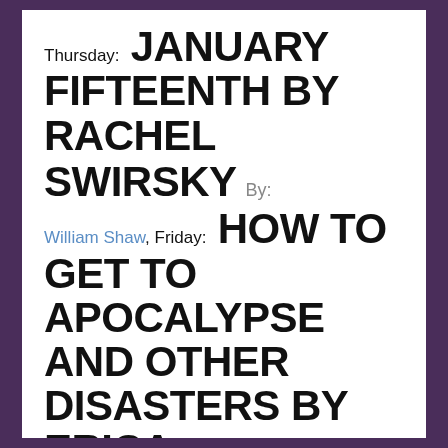Thursday: JANUARY FIFTEENTH BY RACHEL SWIRSKY By: William Shaw, Friday: HOW TO GET TO APOCALYPSE AND OTHER DISASTERS BY ERICA L. SATIFKA By: Stephen Case
READ ISSUE